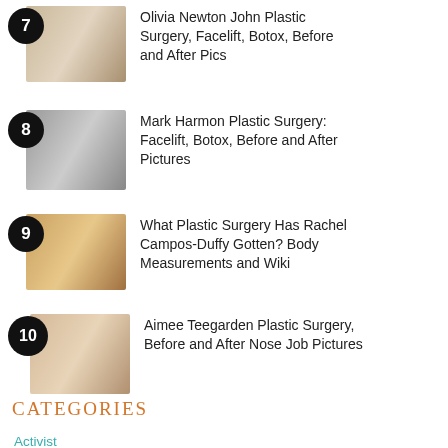7 Olivia Newton John Plastic Surgery, Facelift, Botox, Before and After Pics
8 Mark Harmon Plastic Surgery: Facelift, Botox, Before and After Pictures
9 What Plastic Surgery Has Rachel Campos-Duffy Gotten? Body Measurements and Wiki
10 Aimee Teegarden Plastic Surgery, Before and After Nose Job Pictures
Categories
Activist